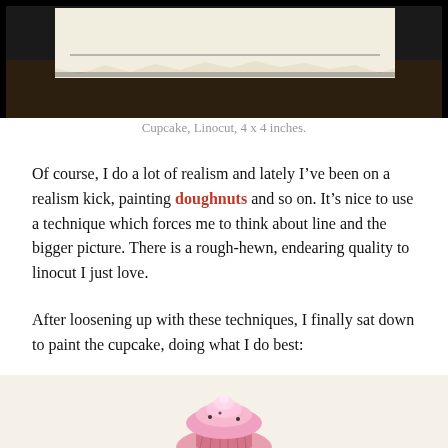[Figure (photo): A linocut print on a piece of white paper lying on a dark wooden surface, photographed from above.]
Cupcake, Linocut, 4 x 4 inches.
Of course, I do a lot of realism and lately I've been on a realism kick, painting doughnuts and so on. It's nice to use a technique which forces me to think about line and the bigger picture. There is a rough-hewn, endearing quality to linocut I just love.
After loosening up with these techniques, I finally sat down to paint the cupcake, doing what I do best:
[Figure (photo): A painting of a pink cupcake with decorative icing, partially visible, on a light background.]